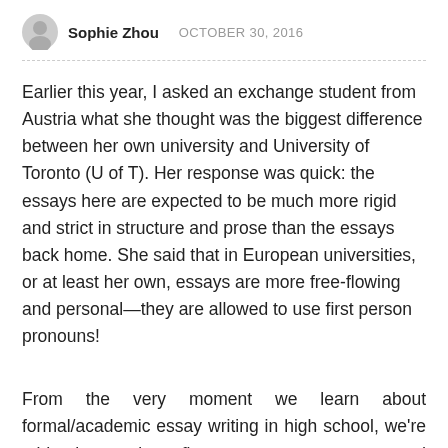Sophie Zhou   OCTOBER 30, 2016
Earlier this year, I asked an exchange student from Austria what she thought was the biggest difference between her own university and University of Toronto (U of T). Her response was quick: the essays here are expected to be much more rigid and strict in structure and prose than the essays back home. She said that in European universities, or at least her own, essays are more free-flowing and personal—they are allowed to use first person pronouns!
From the very moment we learn about formal/academic essay writing in high school, we're told that using first person pronouns and contractions are bad. My grade ten